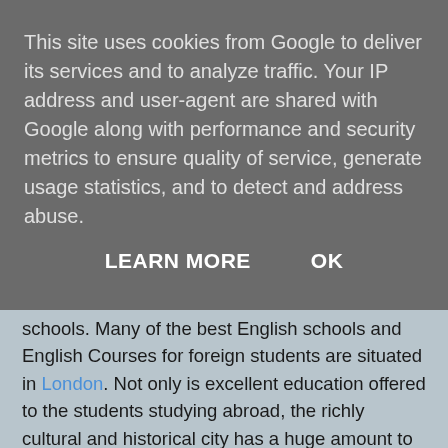This site uses cookies from Google to deliver its services and to analyze traffic. Your IP address and user-agent are shared with Google along with performance and security metrics to ensure quality of service, generate usage statistics, and to detect and address abuse.
LEARN MORE    OK
schools. Many of the best English schools and English Courses for foreign students are situated in London. Not only is excellent education offered to the students studying abroad, the richly cultural and historical city has a huge amount to offer in terms of sights and sounds to the students attending English schools in London. Whether the student is attending the English course for their university degree, or they simply want to learn English from native speakers in an English School, London is widely accepted as the most forward, trendy and beautiful city in England. Therefore London is the best choice of location to choose your English Course and English School.
From past experience of working at an English school, I have